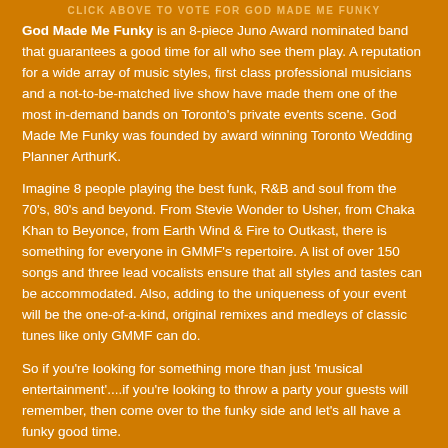CLICK ABOVE TO VOTE FOR GOD MADE ME FUNKY
God Made Me Funky is an 8-piece Juno Award nominated band that guarantees a good time for all who see them play. A reputation for a wide array of music styles, first class professional musicians and a not-to-be-matched live show have made them one of the most in-demand bands on Toronto's private events scene. God Made Me Funky was founded by award winning Toronto Wedding Planner ArthurK.
Imagine 8 people playing the best funk, R&B and soul from the 70's, 80's and beyond. From Stevie Wonder to Usher, from Chaka Khan to Beyonce, from Earth Wind & Fire to Outkast, there is something for everyone in GMMF's repertoire. A list of over 150 songs and three lead vocalists ensure that all styles and tastes can be accommodated. Also, adding to the uniqueness of your event will be the one-of-a-kind, original remixes and medleys of classic tunes like only GMMF can do.
So if you're looking for something more than just 'musical entertainment'....if you're looking to throw a party your guests will remember, then come over to the funky side and let's all have a funky good time.
OUR SKILLS